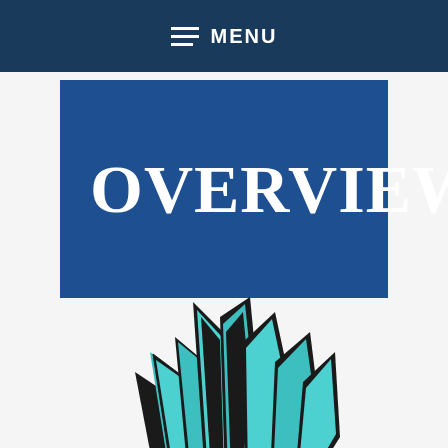MENU
OVERVIEW
[Figure (logo): A stylized eagle or hawk wing logo in teal/cyan and black colors, appearing to be a school or sports team mascot emblem]